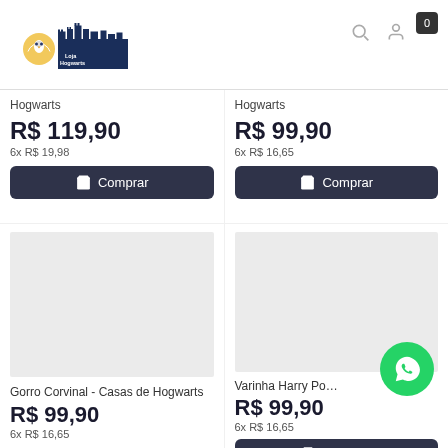[Figure (logo): Loja Hogwarts logo with castle silhouette and owl]
Hogwarts
R$ 119,90
6x R$ 19,98
Comprar
Hogwarts
R$ 99,90
6x R$ 16,65
Comprar
[Figure (photo): Product image placeholder for Gorro Corvinal - Casas de Hogwarts]
Gorro Corvinal - Casas de Hogwarts
R$ 99,90
6x R$ 16,65
[Figure (photo): Product image placeholder for Varinha Harry Po...]
Varinha Harry Po...
R$ 99,90
6x R$ 16,65
Comprar